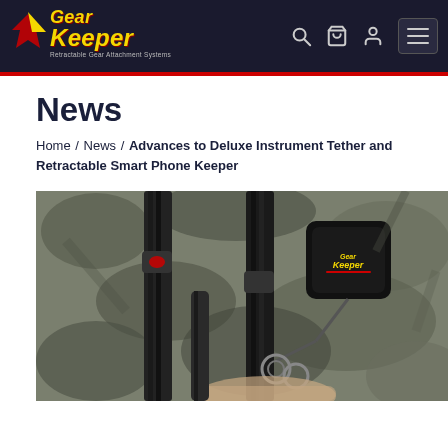Gear Keeper — Retractable Gear Attachment Systems
News
Home / News / Advances to Deluxe Instrument Tether and Retractable Smart Phone Keeper
[Figure (photo): Close-up photo of a Gear Keeper retractable device attached to a camouflage jacket near zippers, with a person's hand visible at the bottom.]